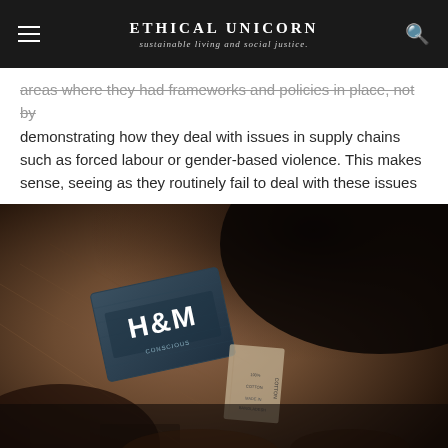ETHICAL UNICORN — sustainable living and social justice
areas where they had frameworks and policies in place, not by demonstrating how they deal with issues in supply chains such as forced labour or gender-based violence. This makes sense, seeing as they routinely fail to deal with these issues
[Figure (photo): Close-up photograph of a clothing label tag showing H&M branding on dark fabric, with blurred brown textile background]